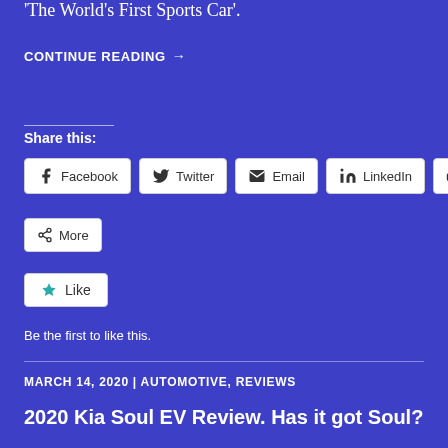‘The World’s First Sports Car’.
CONTINUE READING →
Share this:
Facebook  Twitter  Email  LinkedIn  Print
More
Like
Be the first to like this.
MARCH 14, 2020 | AUTOMOTIVE, REVIEWS
2020 Kia Soul EV Review. Has it got Soul?